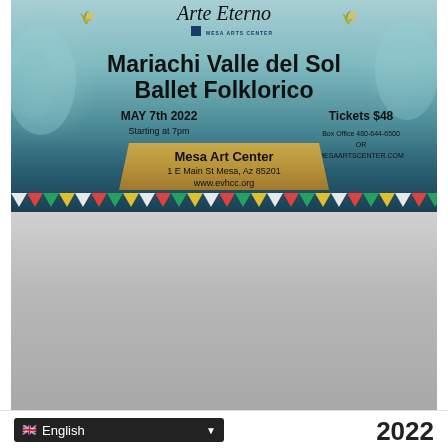[Figure (illustration): Arte Eterno event flyer for Mariachi Valle del Sol Ballet Folklorico at Mesa Art Center. Shows logo with wheat decorations at top, teal/dark blue gradient background with decorative swirls. Main text: Mariachi Valle del Sol Ballet Folklorico, MAY 7th 2022, Starting at 7pm. Gold trapezoid shape with Mesa Art Center, 1 E Main St Mesa, Az 85201, www.evhcc.org. Tickets $48, Box Office 480-644-6500 OR MESAARTSCENTER.COM. Decorative triangle border at bottom.]
English
2022